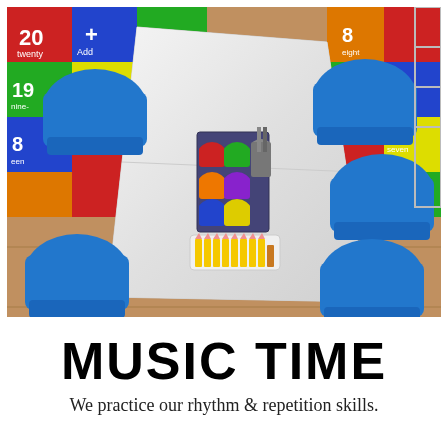[Figure (photo): Overhead view of a white classroom table with blue plastic chairs around it. On the table sits a caddy holding colorful cups (red, green, orange, purple, blue, yellow) filled with school supplies, and a white rectangular basket filled with yellow pencils. In the background is a colorful educational numbers carpet on a wooden floor.]
MUSIC TIME
We practice our rhythm & repetition skills.